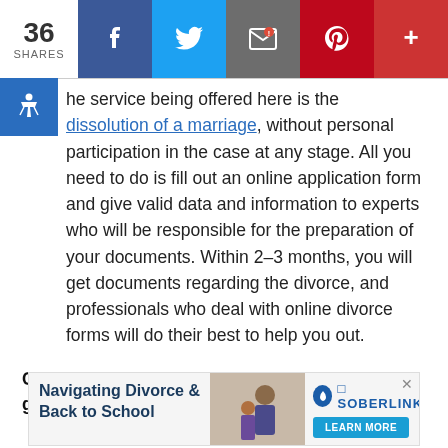[Figure (infographic): Social share bar showing 36 shares, with Facebook, Twitter, Email, Pinterest, and more buttons]
he service being offered here is the dissolution of a marriage, without personal participation in the case at any stage. All you need to do is fill out an online application form and give valid data and information to experts who will be responsible for the preparation of your documents. Within 2–3 months, you will get documents regarding the divorce, and professionals who deal with online divorce forms will do their best to help you out.
Currently, there are several online services with good reputations; let's take a look at them!
[Figure (screenshot): Advertisement banner: Navigating Divorce & Back to School, Soberlink, Learn More button]